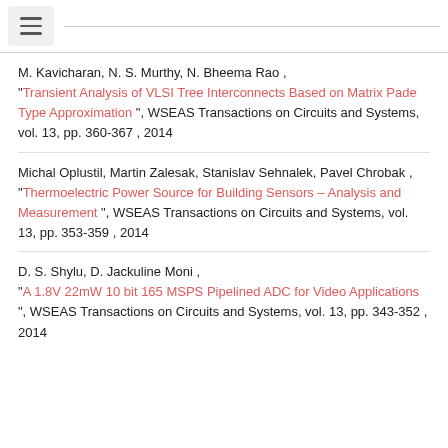M. Kavicharan, N. S. Murthy, N. Bheema Rao , "Transient Analysis of VLSI Tree Interconnects Based on Matrix Pade Type Approximation ", WSEAS Transactions on Circuits and Systems, vol. 13, pp. 360-367 , 2014
Michal Oplustil, Martin Zalesak, Stanislav Sehnalek, Pavel Chrobak , "Thermoelectric Power Source for Building Sensors – Analysis and Measurement ", WSEAS Transactions on Circuits and Systems, vol. 13, pp. 353-359 , 2014
D. S. Shylu, D. Jackuline Moni , "A 1.8V 22mW 10 bit 165 MSPS Pipelined ADC for Video Applications ", WSEAS Transactions on Circuits and Systems, vol. 13, pp. 343-352 , 2014